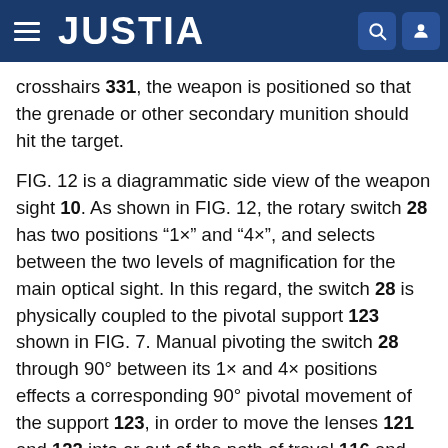JUSTIA
crosshairs 331, the weapon is positioned so that the grenade or other secondary munition should hit the target.
FIG. 12 is a diagrammatic side view of the weapon sight 10. As shown in FIG. 12, the rotary switch 28 has two positions “1×” and “4×”, and selects between the two levels of magnification for the main optical sight. In this regard, the switch 28 is physically coupled to the pivotal support 123 shown in FIG. 7. Manual pivoting the switch 28 through 90° between its 1× and 4× positions effects a corresponding 90° pivotal movement of the support 123, in order to move the lenses 121 and 122 into or out of the path of travel 116 and thus change the magnification. In addition, the rotary switch 28 is electrically coupled to the electronic control circuit 216 (FIG. 8), so that the control circuit 216 knows the current